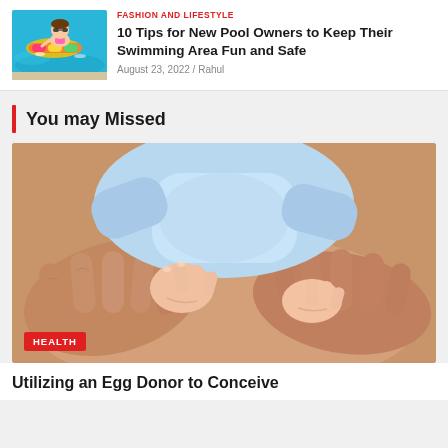FASHION AND LIFESTYLE
10 Tips for New Pool Owners to Keep Their Swimming Area Fun and Safe
August 23, 2022 / Rahul
You may Missed
[Figure (photo): Close-up photo of adult hands cradling a baby's hands, baby wearing light blue top]
HEALTH
Utilizing an Egg Donor to Conceive